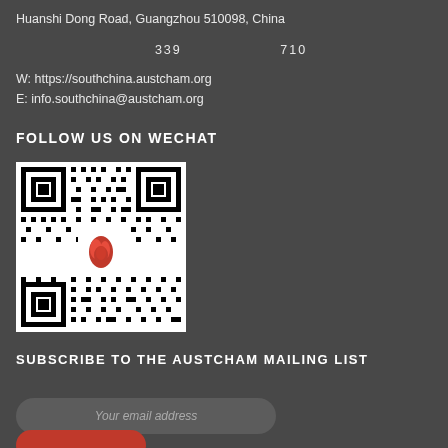Huanshi Dong Road, Guangzhou 510098, China
339                              710
W: https://southchina.austcham.org
E: info.southchina@austcham.org
FOLLOW US ON WECHAT
[Figure (other): WeChat QR code with red flame logo in center]
SUBSCRIBE TO THE AUSTCHAM MAILING LIST
Your email address